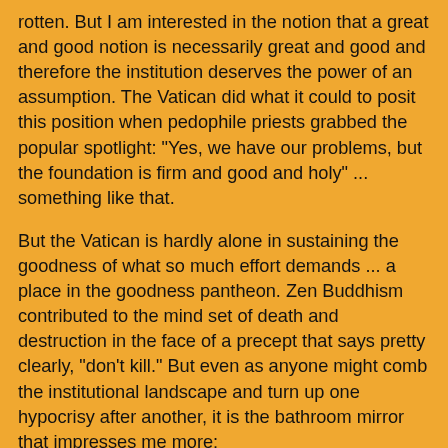rotten. But I am interested in the notion that a great and good notion is necessarily great and good and therefore the institution deserves the power of an assumption. The Vatican did what it could to posit this position when pedophile priests grabbed the popular spotlight: "Yes, we have our problems, but the foundation is firm and good and holy" ... something like that.
But the Vatican is hardly alone in sustaining the goodness of what so much effort demands ... a place in the goodness pantheon. Zen Buddhism contributed to the mind set of death and destruction in the face of a precept that says pretty clearly, "don't kill." But even as anyone might comb the institutional landscape and turn up one hypocrisy after another, it is the bathroom mirror that impresses me more:
I work so hard to do something good that it must, both institutionally and personally, be good. The alternative is too distressing. I want to think well of myself because, because, because ... well, I just wanna and there's the end of it. A rotten apple or two, sure, but the barrel that looks back in the bathroom mirror is, because I say so, nutritious and good.